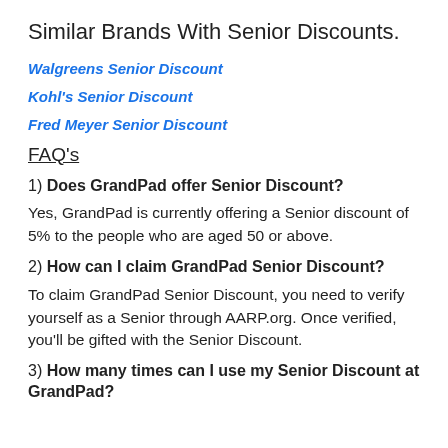Similar Brands With Senior Discounts.
Walgreens Senior Discount
Kohl's Senior Discount
Fred Meyer Senior Discount
FAQ's
1) Does GrandPad offer Senior Discount?
Yes, GrandPad is currently offering a Senior discount of 5% to the people who are aged 50 or above.
2) How can I claim GrandPad Senior Discount?
To claim GrandPad Senior Discount, you need to verify yourself as a Senior through AARP.org. Once verified, you'll be gifted with the Senior Discount.
3) How many times can I use my Senior Discount at GrandPad?